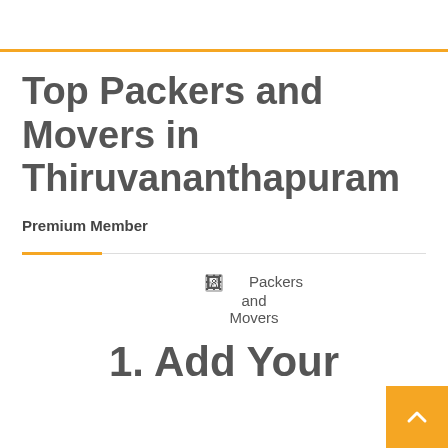Top Packers and Movers in Thiruvananthapuram
Premium Member
[Figure (illustration): Broken image placeholder showing alt text: Packers and Movers]
1. Add Your